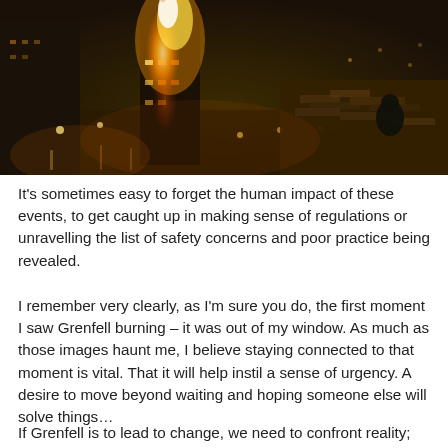[Figure (photo): Aerial night-time photograph of a large tower block engulfed in fire with bright orange flames and city lights visible around it, a person visible in silhouette in the foreground right.]
It's sometimes easy to forget the human impact of these events, to get caught up in making sense of regulations or unravelling the list of safety concerns and poor practice being revealed.
I remember very clearly, as I'm sure you do, the first moment I saw Grenfell burning – it was out of my window. As much as those images haunt me, I believe staying connected to that moment is vital. That it will help instil a sense of urgency. A desire to move beyond waiting and hoping someone else will solve things…
If Grenfell is to lead to change, we need to confront reality;